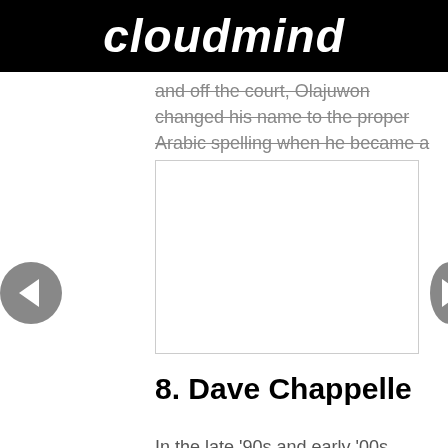cloudmind
and off the court, Olajuwon changed his name to the proper Arabic spelling when he became a more devout Muslim in 1991.
[Figure (photo): Empty image placeholder box with border]
8. Dave Chappelle
In the late '90s and early '00s, Dave Chappelle was considered one of the